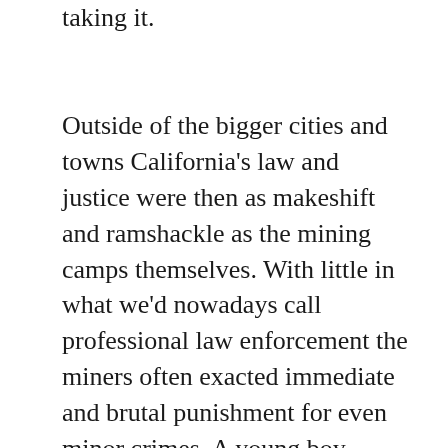taking it.
Outside of the bigger cities and towns California's law and justice were then as makeshift and ramshackle as the mining camps themselves. With little in what we'd nowadays call professional law enforcement the miners often exacted immediate and brutal punishment for even minor crimes. A young boy caught committing petty theft might have his ears cut off, for example. What was then called 'miners law' was fast, brutal